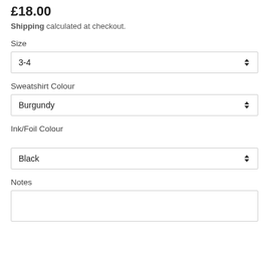£18.00
Shipping calculated at checkout.
Size
3-4
Sweatshirt Colour
Burgundy
Ink/Foil Colour
Black
Notes